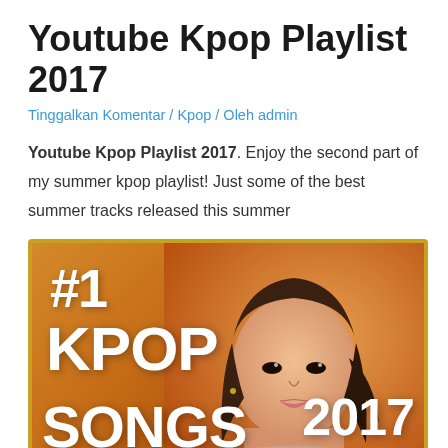Youtube Kpop Playlist 2017
Tinggalkan Komentar / Kpop / Oleh admin
Youtube Kpop Playlist 2017. Enjoy the second part of my summer kpop playlist! Just some of the best summer tracks released this summer
[Figure (photo): Thumbnail image showing a young Korean woman with long brown hair against an orange/gold background. Text overlay reads: #1 KPOP SONGS 2017]